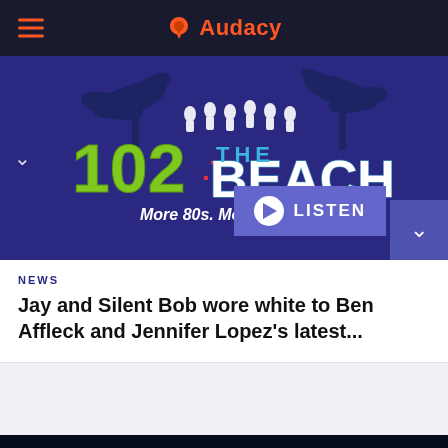Audacy
[Figure (logo): 102.7 The Beach radio station logo with palm trees and silhouettes. Tagline: More 80s. More Fun!]
LISTEN
NEWS
Jay and Silent Bob wore white to Ben Affleck and Jennifer Lopez's latest...